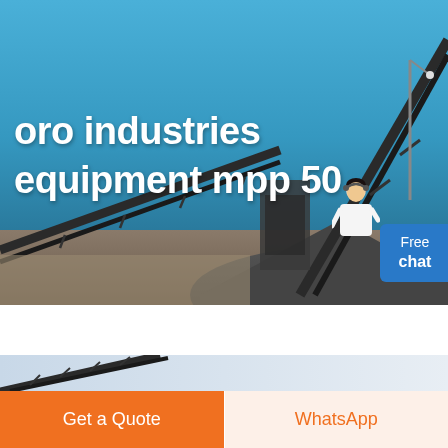[Figure (photo): Industrial mining conveyor belt system with large rock crusher equipment under blue sky, aerial/ground view of industrial site with piles of crushed rock/ore]
oro industries equipment mpp 50
[Figure (photo): Partial view of a large conveyor belt structure against a light sky, industrial mining equipment]
Free chat
Get a Quote
WhatsApp